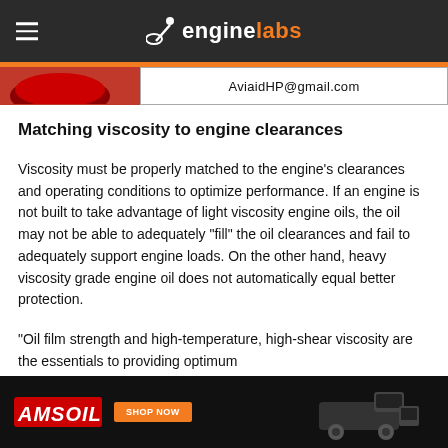enginelabs
[Figure (logo): Aviaid HP advertisement banner with email AviaidHP@gmail.com]
Matching viscosity to engine clearances
Viscosity must be properly matched to the engine’s clearances and operating conditions to optimize performance. If an engine is not built to take advantage of light viscosity engine oils, the oil may not be able to adequately “fill” the oil clearances and fail to adequately support engine loads. On the other hand, heavy viscosity grade engine oil does not automatically equal better protection.
“Oil film strength and high-temperature, high-shear viscosity are the essentials to providing optimum
[Figure (advertisement): AMSOIL advertisement banner with Shop Now button and truck image]